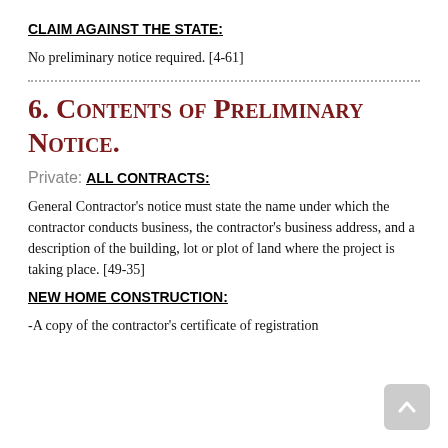CLAIM AGAINST THE STATE:
No preliminary notice required. [4-61]
6. Contents of Preliminary Notice.
Private:
ALL CONTRACTS:
General Contractor’s notice must state the name under which the contractor conducts business, the contractor’s business address, and a description of the building, lot or plot of land where the project is taking place. [49-35]
NEW HOME CONSTRUCTION:
-A copy of the contractor’s certificate of registration